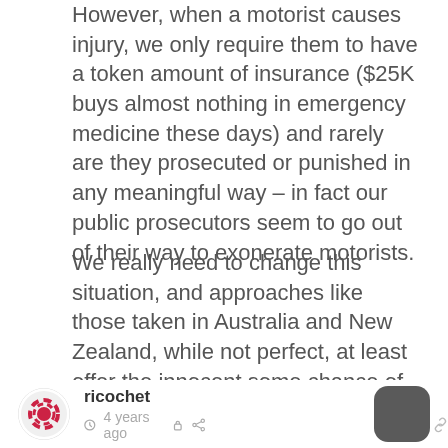However, when a motorist causes injury, we only require them to have a token amount of insurance ($25K buys almost nothing in emergency medicine these days) and rarely are they prosecuted or punished in any meaningful way – in fact our public prosecutors seem to go out of their way to exonerate motorists.
We really need to change this situation, and approaches like those taken in Australia and New Zealand, while not perfect, at least offer the innocent some chance of recovery.
👍 0   ➤ Reply
ricochet  © 4 years ago  🔒  ⇪